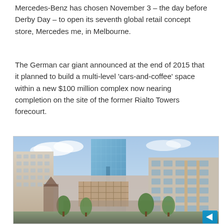Mercedes-Benz has chosen November 3 – the day before Derby Day – to open its seventh global retail concept store, Mercedes me, in Melbourne.
The German car giant announced at the end of 2015 that it planned to build a multi-level 'cars-and-coffee' space within a new $100 million complex now nearing completion on the site of the former Rialto Towers forecourt.
[Figure (illustration): Architectural rendering of a modern multi-story glass and stone building complex, with a tall glass tower in the center, flanked by lower buildings with grid-pattern facades. Trees and street-level activity visible in the foreground under a blue sky.]